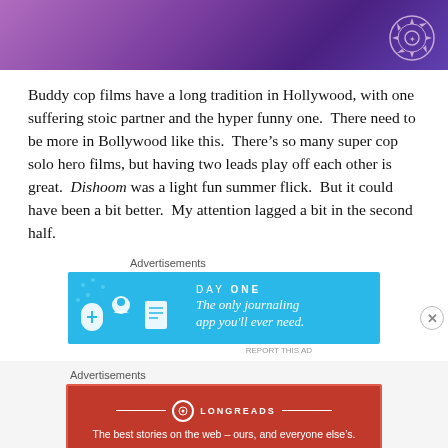[Figure (photo): Purple/violet stage lighting background with a decorative gear/sunburst circle emblem in upper right corner]
Buddy cop films have a long tradition in Hollywood, with one suffering stoic partner and the hyper funny one. There need to be more in Bollywood like this. There’s so many super cop solo hero films, but having two leads play off each other is great. Dishoom was a light fun summer flick. But it could have been a bit better. My attention lagged a bit in the second half.
Advertisements
[Figure (other): DAY ONE - The only journaling app you'll ever need. Advertisement banner with cyan/teal background featuring three icon characters.]
REPORT THIS AD
Advertisements
[Figure (other): LONGREADS - The best stories on the web – ours, and everyone else's. Advertisement banner with red background.]
REPORT THIS AD